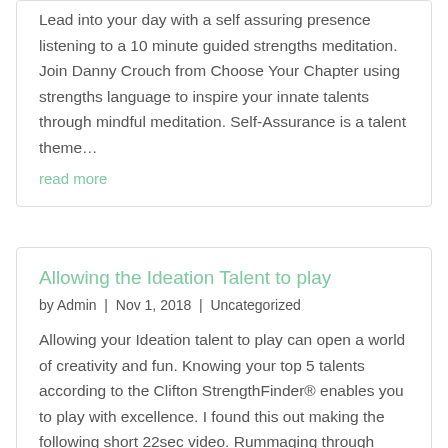Lead into your day with a self assuring presence listening to a 10 minute guided strengths meditation. Join Danny Crouch from Choose Your Chapter using strengths language to inspire your innate talents through mindful meditation. Self-Assurance is a talent theme…
read more
Allowing the Ideation Talent to play
by Admin | Nov 1, 2018 | Uncategorized
Allowing your Ideation talent to play can open a world of creativity and fun. Knowing your top 5 talents according to the Clifton StrengthFinder® enables you to play with excellence. I found this out making the following short 22sec video. Rummaging through stock…
read more